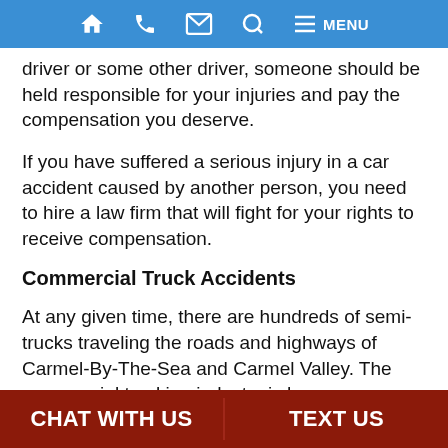Navigation bar with home, phone, email, search, and menu icons
driver or some other driver, someone should be held responsible for your injuries and pay the compensation you deserve.
If you have suffered a serious injury in a car accident caused by another person, you need to hire a law firm that will fight for your rights to receive compensation.
Commercial Truck Accidents
At any given time, there are hundreds of semi-trucks traveling the roads and highways of Carmel-By-The-Sea and Carmel Valley. The commercial trucking industry is how our economy works. But with increased commercial truck traffic on the roads, there
CHAT WITH US | TEXT US